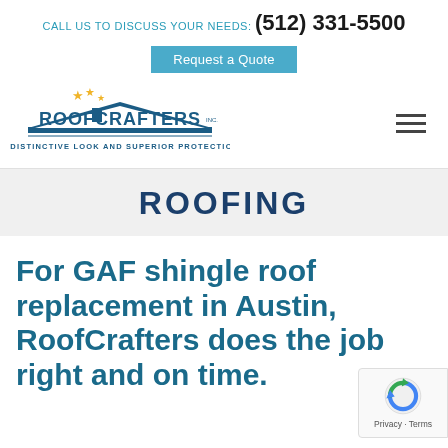CALL US TO DISCUSS YOUR NEEDS: (512) 331-5500
Request a Quote
[Figure (logo): RoofCrafters Inc. logo with roof silhouette and stars, tagline: A DISTINCTIVE LOOK AND SUPERIOR PROTECTION]
ROOFING
For GAF shingle roof replacement in Austin, RoofCrafters does the job right and on time.